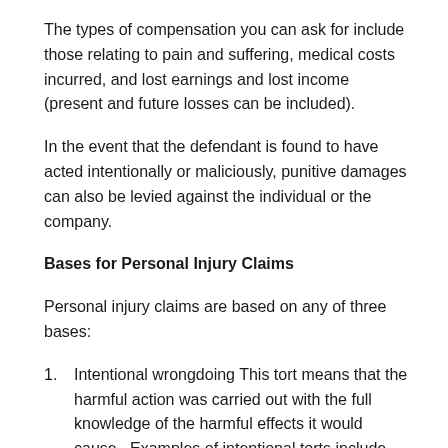The types of compensation you can ask for include those relating to pain and suffering, medical costs incurred, and lost earnings and lost income (present and future losses can be included).
In the event that the defendant is found to have acted intentionally or maliciously, punitive damages can also be levied against the individual or the company.
Bases for Personal Injury Claims
Personal injury claims are based on any of three bases:
1.    Intentional wrongdoing This tort means that the harmful action was carried out with the full knowledge of the harmful effects it would cause.  Examples of intentional torts include fraud, assault, battery, and character defamation.